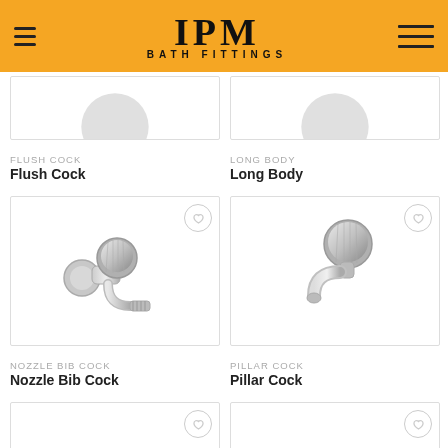IPM BATH FITTINGS
FLUSH COCK
Flush Cock
LONG BODY
Long Body
[Figure (photo): Chrome Nozzle Bib Cock faucet product photo on white background]
NOZZLE BIB COCK
Nozzle Bib Cock
[Figure (photo): Chrome Pillar Cock faucet product photo on white background]
PILLAR COCK
Pillar Cock
[Figure (photo): Partial product photo at bottom left]
[Figure (photo): Partial product photo at bottom right]